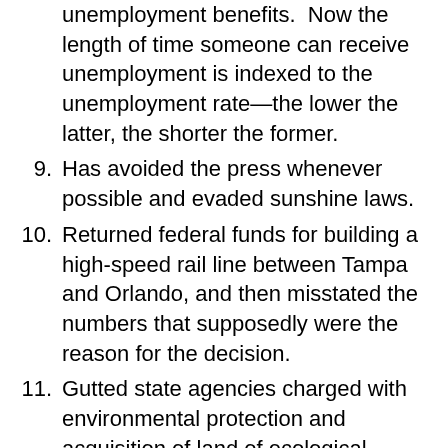(continuation) unemployment benefits.  Now the length of time someone can receive unemployment is indexed to the unemployment rate—the lower the latter, the shorter the former.
9. Has avoided the press whenever possible and evaded sunshine laws.
10. Returned federal funds for building a high-speed rail line between Tampa and Orlando, and then misstated the numbers that supposedly were the reason for the decision.
11. Gutted state agencies charged with environmental protection and acquisition of land of ecological importance.
12. Slashed funding for public schools, while approving privately-run, but publicly-funded virtual charter schools.